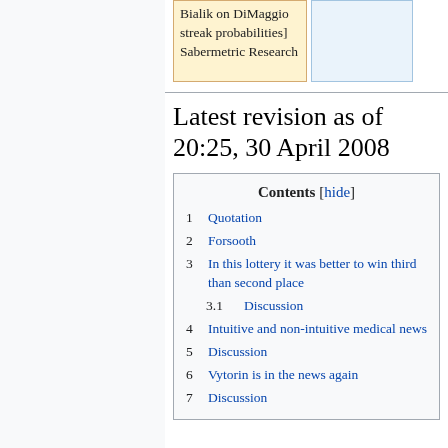Bialik on DiMaggio streak probabilities] Sabermetric Research
Latest revision as of 20:25, 30 April 2008
1  Quotation
2  Forsooth
3  In this lottery it was better to win third than second place
3.1  Discussion
4  Intuitive and non-intuitive medical news
5  Discussion
6  Vytorin is in the news again
7  Discussion